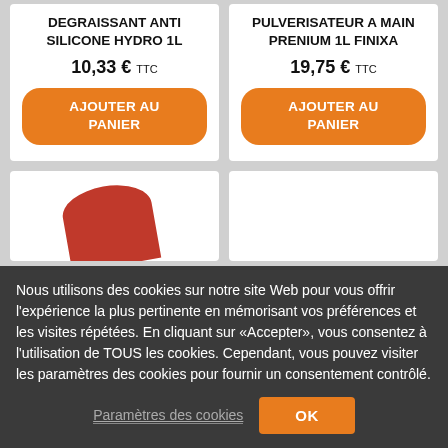DEGRAISSANT ANTI SILICONE HYDRO 1L
10,33 € TTC
AJOUTER AU PANIER
PULVERISATEUR A MAIN PRENIUM 1L FINIXA
19,75 € TTC
AJOUTER AU PANIER
[Figure (photo): Product image showing a red item, partially visible at bottom of page]
Nous utilisons des cookies sur notre site Web pour vous offrir l'expérience la plus pertinente en mémorisant vos préférences et les visites répétées. En cliquant sur «Accepter», vous consentez à l'utilisation de TOUS les cookies. Cependant, vous pouvez visiter les paramètres des cookies pour fournir un consentement contrôlé.
Paramètres des cookies
OK